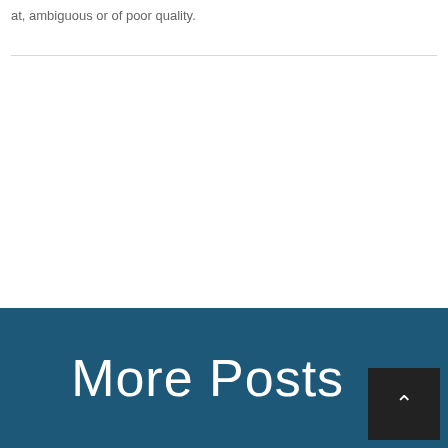at, ambiguous or of poor quality.
[Figure (other): Navigation previous button (left chevron) with light border and dark blue square background]
More Posts
[Figure (other): Scroll to top button with dark background and up chevron icon]